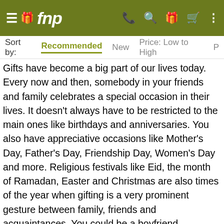fnp
Sort by: Recommended New Price: Low to High P
Gifts have become a big part of our lives today. Every now and then, somebody in your friends and family celebrates a special occasion in their lives. It doesn't always have to be restricted to the main ones like birthdays and anniversaries. You also have appreciative occasions like Mother's Day, Father's Day, Friendship Day, Women's Day and more. Religious festivals like Eid, the month of Ramadan, Easter and Christmas are also times of the year when gifting is a very prominent gesture between family, friends and acquaintances. You could be a boyfriend searching for the perfect Valentine's Day gift for the love of your life or you could a close colleague looking for a parting gift for a team member, we assure you that we have something for everyone here. When you give a gift to someone, it not only shows how appreciative you are of having them in your life, but it also proves that you care for them. Your